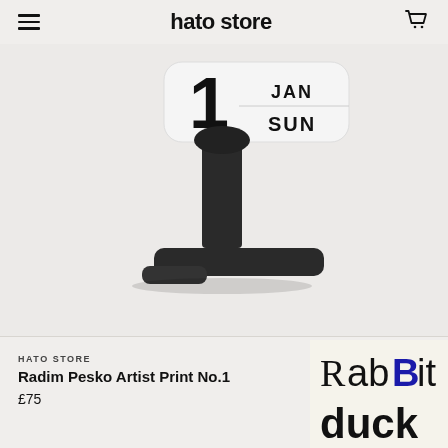hato store
[Figure (photo): Black desk calendar object showing date 1 JAN SUN on a light grey background]
HATO STORE
Radim Pesko Artist Print No.1
£75
[Figure (photo): Artist print showing the word 'RabBit' in large blue and black mixed-case typography, with 'duck' partially visible below in a similar typographic style, on a cream/off-white background]